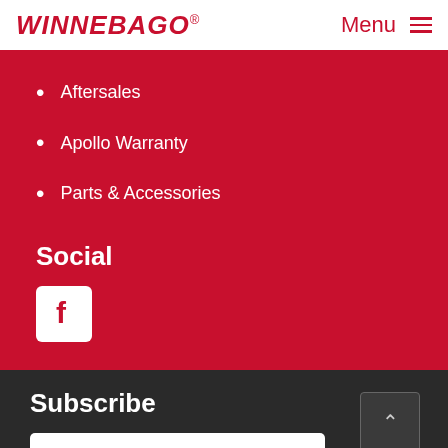WINNEBAGO Menu
Aftersales
Apollo Warranty
Parts & Accessories
Social
[Figure (logo): Facebook logo icon — white F on white rounded square]
Subscribe
First Name
Last Name
Email